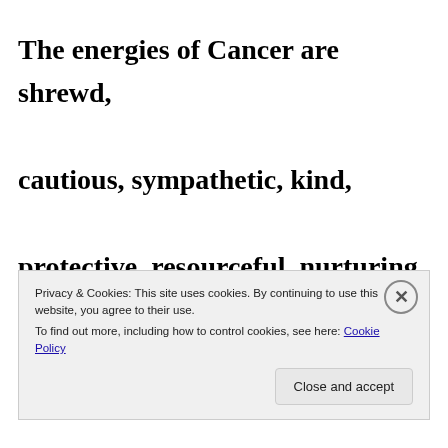The energies of Cancer are shrewd, cautious, sympathetic, kind, protective, resourceful, nurturing, but also moody. Like the other water signs, this is a time of fertility and
Privacy & Cookies: This site uses cookies. By continuing to use this website, you agree to their use.
To find out more, including how to control cookies, see here: Cookie Policy
Close and accept